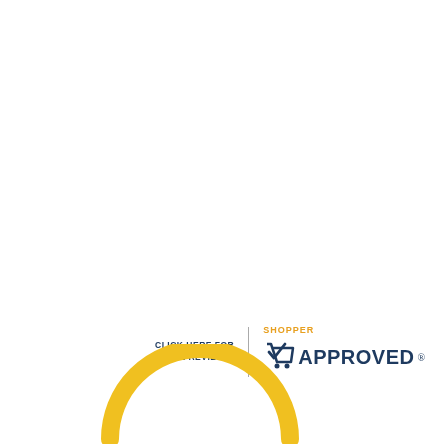[Figure (logo): Shopper Approved badge/logo with text 'CLICK HERE FOR MORE REVIEWS' on the left, a vertical divider, then a shopping cart with checkmark icon, 'SHOPPER' in orange above 'APPROVED' in dark navy blue with registered trademark symbol.]
[Figure (illustration): Partial yellow circular arc/ring visible at the bottom-left of the page, cut off at the page edge.]